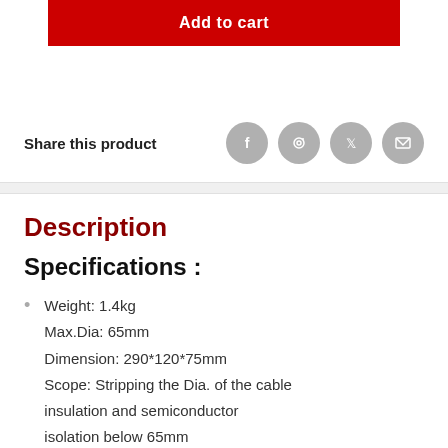Add to cart
Share this product
Weight: 1.4kg
Max.Dia: 65mm
Dimension: 290*120*75mm
Scope: Stripping the Dia. of the cable insulation and semiconductor isolation below 65mm